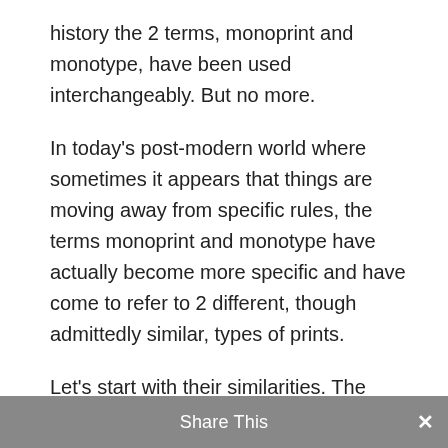history the 2 terms, monoprint and monotype, have been used interchangeably. But no more.
In today's post-modern world where sometimes it appears that things are moving away from specific rules, the terms monoprint and monotype have actually become more specific and have come to refer to 2 different, though admittedly similar, types of prints.
Let's start with their similarities. The most obvious is that both a monotype and a monoprint involve the transfer of ink from a smooth non non-absorbent surface made of, say, metal, glass or polycarbonate, to
Share This ×